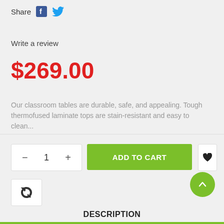Share
[Figure (logo): Facebook and Twitter share icons]
Write a review
$269.00
Our classroom tables are durable, safe, and appealing. Tough thermofused laminate tops are stain-resistant and easy to clean...
[Figure (screenshot): Quantity selector with minus, 1, plus buttons]
[Figure (screenshot): Add to cart green button]
[Figure (screenshot): Wishlist heart button]
[Figure (screenshot): Refresh/compare icon button]
[Figure (screenshot): Scroll to top green circular button with up chevron]
DESCRIPTION